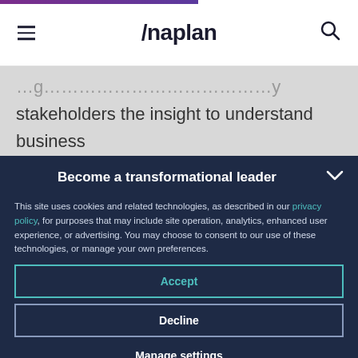Anaplan
stakeholders the insight to understand business drivers. This is a critical lost opportunity. Limited
Become a transformational leader
This site uses cookies and related technologies, as described in our privacy policy, for purposes that may include site operation, analytics, enhanced user experience, or advertising. You may choose to consent to our use of these technologies, or manage your own preferences.
Accept
Decline
Manage settings